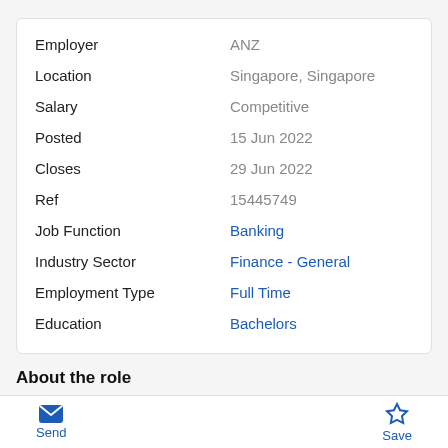| Field | Value |
| --- | --- |
| Employer | ANZ |
| Location | Singapore, Singapore |
| Salary | Competitive |
| Posted | 15 Jun 2022 |
| Closes | 29 Jun 2022 |
| Ref | 15445749 |
| Job Function | Banking |
| Industry Sector | Finance - General |
| Employment Type | Full Time |
| Education | Bachelors |
About the role
Exciting opportunity to be a part of ANZ
Send   Save